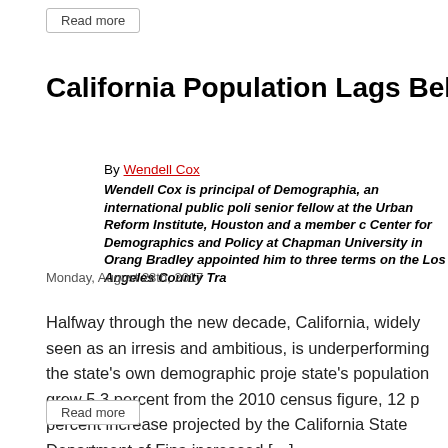Read more
California Population Lags Behind P
By Wendell Cox
Wendell Cox is principal of Demographia, an international public poli senior fellow at the Urban Reform Institute, Houston and a member c Center for Demographics and Policy at Chapman University in Oran Bradley appointed him to three terms on the Los Angeles County Tra
Monday, August 28th, 2017
Halfway through the new decade, California, widely seen as an irresis and ambitious, is underperforming the state's own demographic proje state's population grew 5.3 percent from the 2010 census figure, 12 p percent increase projected by the California State Department of Fina increased […]
Read more